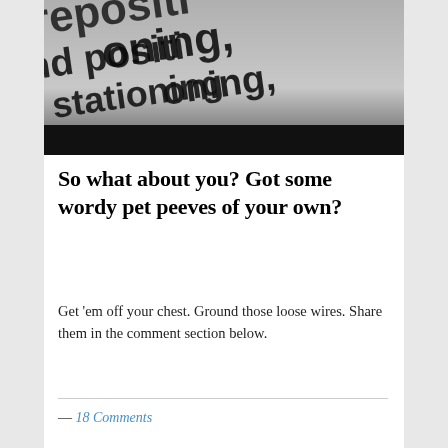[Figure (photo): Black and white photo showing large bold text words including 'repositioning', 'nd positioning', 'and stationing' in a blurred typographic arrangement, with a black bar at the bottom.]
So what about you? Got some wordy pet peeves of your own?
Get 'em off your chest. Ground those loose wires. Share them in the comment section below.
— 18 Comments